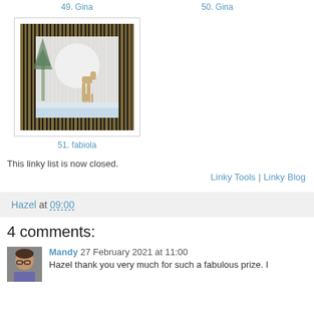49. Gina    50. Gina
[Figure (photo): Thumbnail image of a handmade card showing a winter scene with a deer, trees, and large moon against a golden striped background]
51. fabiola
This linky list is now closed.
Linky Tools | Linky Blog
Hazel at 09:00
4 comments:
Mandy 27 February 2021 at 11:00
Hazel thank you very much for such a fabulous prize. I